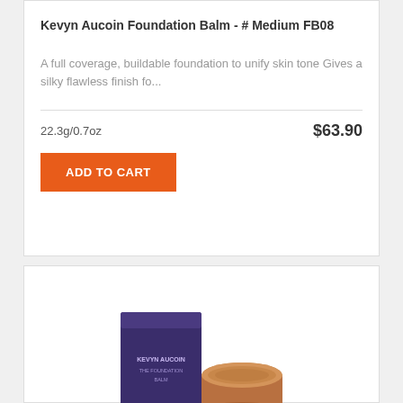Kevyn Aucoin Foundation Balm - # Medium FB08
A full coverage, buildable foundation to unify skin tone Gives a silky flawless finish fo...
22.3g/0.7oz
$63.90
ADD TO CART
[Figure (photo): Product photo showing Kevyn Aucoin foundation balm with dark purple box and open jar of tan/beige foundation]